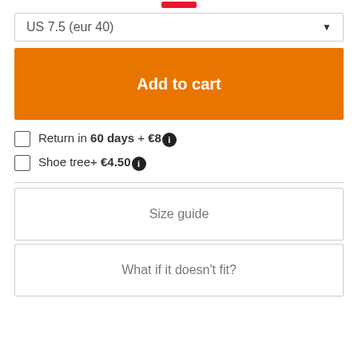[Figure (other): Red button/badge at top center]
US 7.5 (eur 40)
Add to cart
Return in 60 days + €8
Shoe tree+ €4.50
Size guide
What if it doesn't fit?